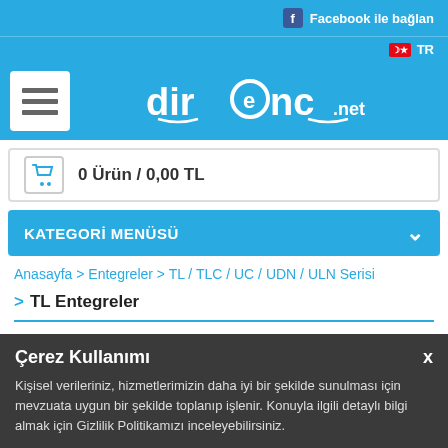Facebook ile bağlan
TR
[Figure (logo): direnc.net logo in white text on blue background with hamburger menu icon]
0 Ürün / 0,00 TL
KATEGORİ MENÜSÜ
Anasayfa > Entegreler > TL / TLC / UC / UDN / ULN Serisi
TL Entegreler
Çerez Kullanımı
Kişisel verileriniz, hizmetlerimizin daha iyi bir şekilde sunulması için mevzuata uygun bir şekilde toplanıp işlenir. Konuyla ilgili detaylı bilgi almak için Gizlilik Politikamızı inceleyebilirsiniz.